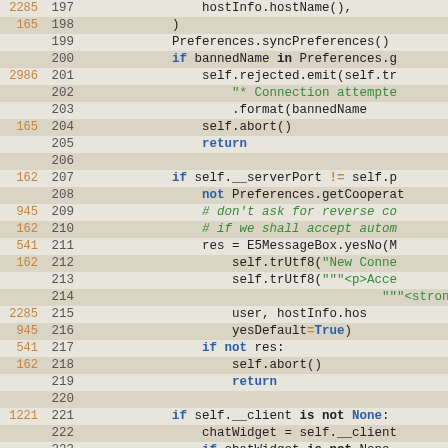[Figure (screenshot): Source code viewer showing Python code lines 197-226 with coverage counts on the left margin, line numbers, and syntax highlighting. Orange numbers are coverage hit counts, blue text is code, green text is strings and comments.]